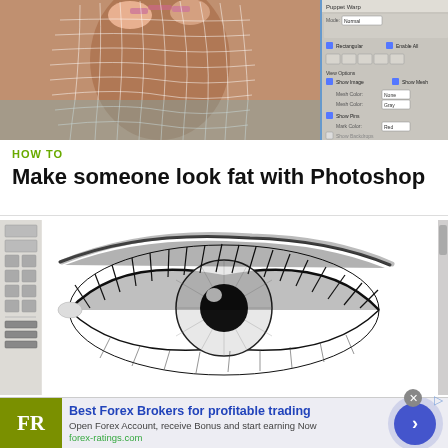[Figure (screenshot): Photoshop screenshot showing a person from behind on a beach wearing a bikini, with a mesh/liquify grid overlay applied to the body, alongside a Photoshop panel UI on the right]
HOW TO
Make someone look fat with Photoshop
[Figure (screenshot): Photoshop screenshot showing a detailed pencil/ink drawing of a human eye with eyelashes, with the Photoshop toolbar visible on the left side]
[Figure (infographic): Advertisement banner for forex-ratings.com: olive green FR logo on left, blue bold headline 'Best Forex Brokers for profitable trading', subtext 'Open Forex Account, receive Bonus and start earning Now', green link 'forex-ratings.com', and a blue circular arrow button on the right]